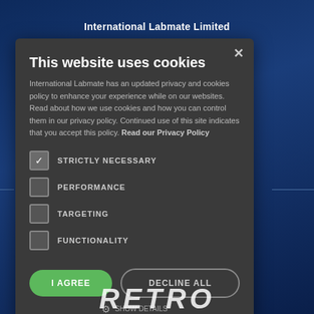International Labmate Limited
[Figure (screenshot): Cookie consent modal dialog on a dark blue website background. Modal contains title 'This website uses cookies', explanatory text, checkboxes for STRICTLY NECESSARY (checked), PERFORMANCE, TARGETING, FUNCTIONALITY, and buttons 'I AGREE' and 'DECLINE ALL', plus a 'SHOW DETAILS' option at the bottom.]
This website uses cookies
International Labmate has an updated privacy and cookies policy to enhance your experience while on our websites. Read about how we use cookies and how you can control them in our privacy policy. Continued use of this site indicates that you accept this policy. Read our Privacy Policy
STRICTLY NECESSARY
PERFORMANCE
TARGETING
FUNCTIONALITY
I AGREE
DECLINE ALL
SHOW DETAILS
[Figure (logo): RETRO logo text in large bold italic white letters at the bottom of the page]